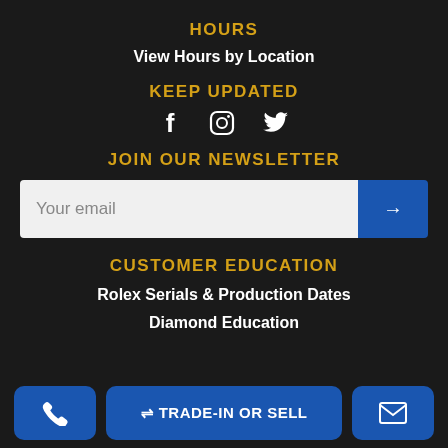HOURS
View Hours by Location
KEEP UPDATED
[Figure (other): Social media icons: Facebook, Instagram, Twitter]
JOIN OUR NEWSLETTER
[Figure (other): Email newsletter signup field with 'Your email' placeholder and blue submit arrow button]
CUSTOMER EDUCATION
Rolex Serials & Production Dates
Diamond Education
[Figure (other): Bottom action buttons: phone icon button, TRADE-IN OR SELL button, envelope icon button]